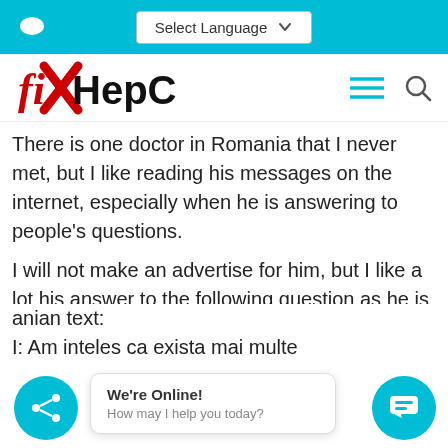Select Language
[Figure (logo): FixHepC logo — stylized red X through 'fi' prefix, black 'HepC' text]
There is one doctor in Romania that I never met, but I like reading his messages on the internet, especially when he is answering to people's questions.
I will not make an advertise for him, but I like a lot his answer to the following question as he is one of the very few doctors from Romania making such information available:
Romanian text:
I: Am inteles ca exista mai multe